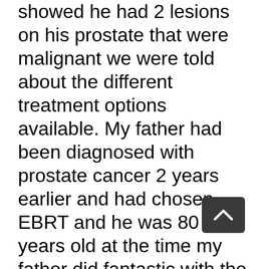showed he had 2 lesions on his prostate that were malignant we were told about the different treatment options available. My father had been diagnosed with prostate cancer 2 years earlier and had chosen EBRT and he was 80 years old at the time my father did fantastic with the EBRT treatment no fatigue, pain or anything he continued to go about his normal activities every day so my husband and I also chose EBRT but I did tell the oncology radiologist that my